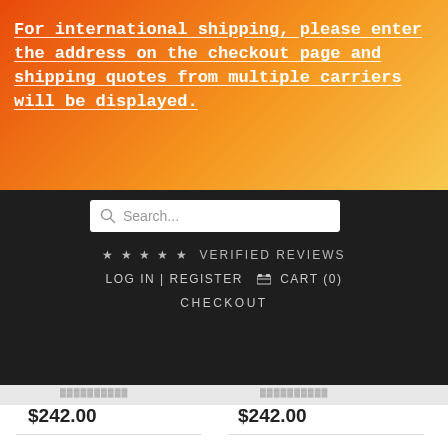For international shipping, please enter the address on the checkout page and shipping quotes from multiple carriers will be displayed.
[Figure (screenshot): E-commerce website navigation bar with search box, verified reviews stars, log in / register / cart links, and checkout link on dark background]
$242.00
$242.00
[Figure (illustration): Red rounded square icon with a gift/present box symbol in white]
[Figure (other): Five empty star rating icons in a row]